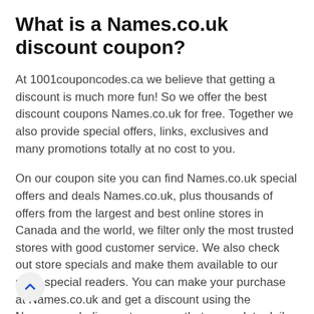What is a Names.co.uk discount coupon?
At 1001couponcodes.ca we believe that getting a discount is much more fun! So we offer the best discount coupons Names.co.uk for free. Together we also provide special offers, links, exclusives and many promotions totally at no cost to you.
On our coupon site you can find Names.co.uk special offers and deals Names.co.uk, plus thousands of offers from the largest and best online stores in Canada and the world, we filter only the most trusted stores with good customer service. We also check out store specials and make them available to our most special readers. You can make your purchase at Names.co.uk and get a discount using the Names.co.uk discount coupons that we update daily.